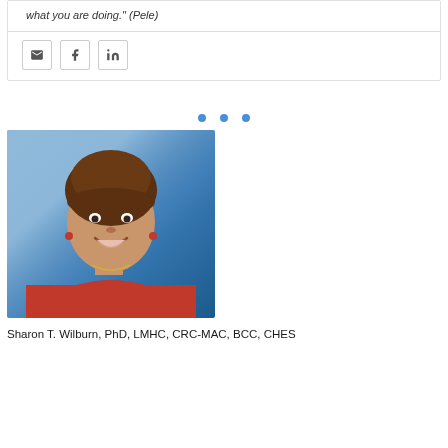what you are doing." (Pele)
[Figure (other): Social sharing buttons: email, Facebook, LinkedIn]
[Figure (photo): Professional headshot of Sharon T. Wilburn, a woman with short brown hair wearing a red top, smiling against a blue background]
Sharon T. Wilburn, PhD, LMHC, CRC-MAC, BCC, CHES